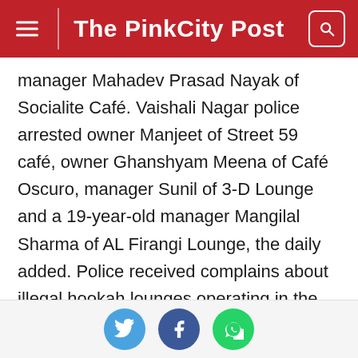The PinkCity Post
manager Mahadev Prasad Nayak of Socialite Café. Vaishali Nagar police arrested owner Manjeet of Street 59 café, owner Ghanshyam Meena of Café Oscuro, manager Sunil of 3-D Lounge and a 19-year-old manager Mangilal Sharma of AL Firangi Lounge, the daily added. Police received complains about illegal hookah lounges operating in the city. Many teenagers were found consuming several banned and harmful products and substances at these